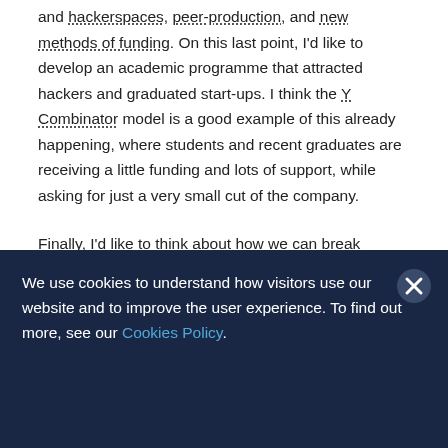and hackerspaces, peer-production, and new methods of funding. On this last point, I'd like to develop an academic programme that attracted hackers and graduated start-ups. I think the Y Combinator model is a good example of this already happening, where students and recent graduates are receiving a little funding and lots of support, while asking for just a very small cut of the company.

Finally, I'd like to think about how we can break
We use cookies to understand how visitors use our website and to improve the user experience. To find out more, see our Cookies Policy.